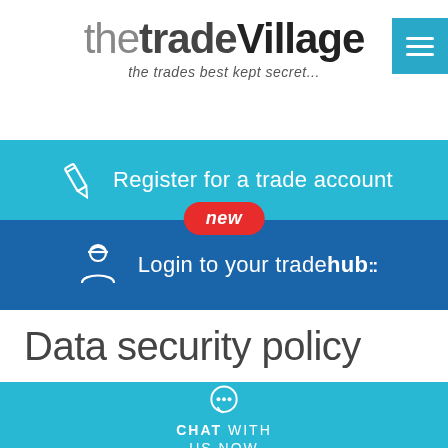[Figure (logo): thetradeVillage logo with tagline 'the trades best kept secret...']
[Figure (screenshot): Hamburger menu button (3 lines) on teal/blue background, top right]
Register for a trade account
new
Login to your tradehub:
Data security policy
CHAT WITH US NOW